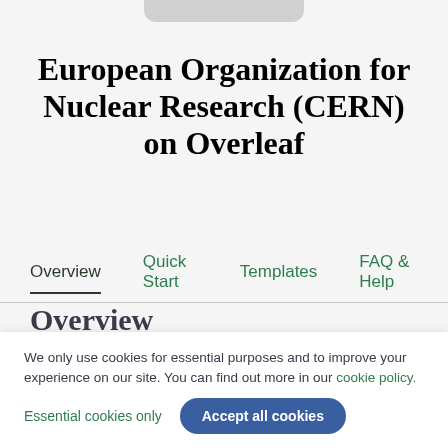European Organization for Nuclear Research (CERN) on Overleaf
Overview   Quick Start   Templates   FAQ & Help
Overview
We only use cookies for essential purposes and to improve your experience on our site. You can find out more in our cookie policy.
Essential cookies only   Accept all cookies